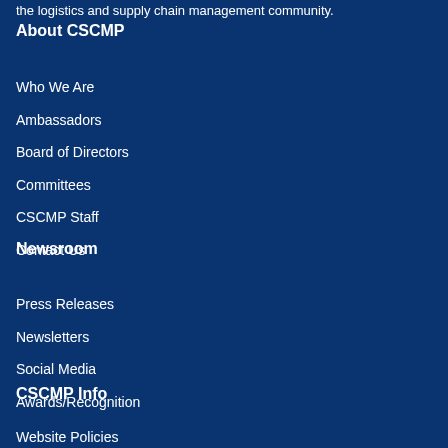the logistics and supply chain management community.
About CSCMP
Who We Are
Ambassadors
Board of Directors
Committees
CSCMP Staff
Contact Us
Newsroom
Press Releases
Newsletters
Social Media
Awards/Recognition
CSCMP Info
Website Policies